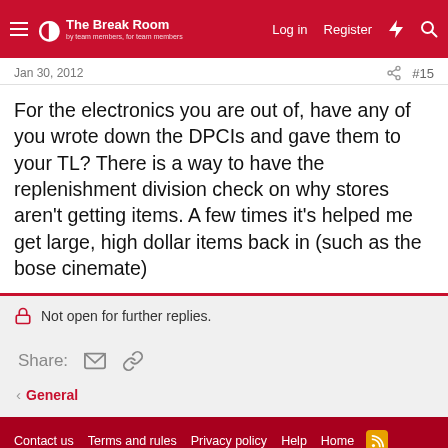The Break Room — Log in | Register
Jan 30, 2012   #15
For the electronics you are out of, have any of you wrote down the DPCIs and gave them to your TL? There is a way to have the replenishment division check on why stores aren't getting items. A few times it's helped me get large, high dollar items back in (such as the bose cinemate)
Not open for further replies.
Share:
General
Contact us   Terms and rules   Privacy policy   Help   Home
Forum software by XenForo® © 2010-2020 XenForo Ltd. | Media embeds via s9e/MediaSites
Discord Integration © Jason Axelrod of 8WAYRUN